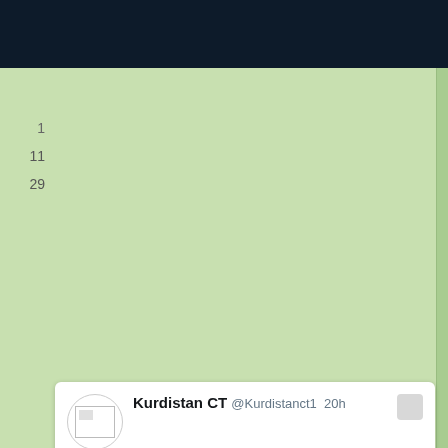[Figure (screenshot): Top dark navigation bar of a mobile app or website]
1
11
29
[Figure (screenshot): Tweet from Kurdistan CT (@Kurdistanct1) posted 20h ago. Text: #BREAKING: President @masoud_barzani: #Iraqi federal court is politicized and not neutral. It was established before the approval of the 2005 #Constitution in which the article 92 urges the establishment of a new federal court. Includes a photo of Masoud Barzani waving to a crowd.]